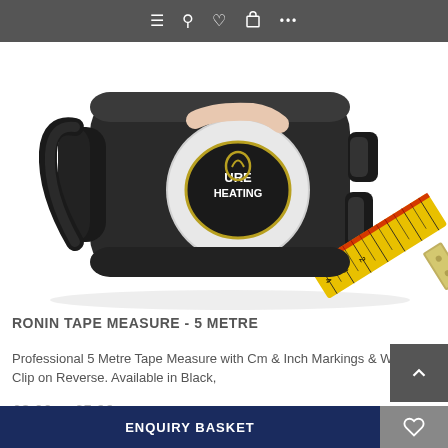≡ 🔍 ♡ 🛍 ...
[Figure (photo): Black branded tape measure (Ronin / Sure Heating logo) with yellow measuring tape extended, on white background]
RONIN TAPE MEASURE - 5 METRE
Professional 5 Metre Tape Measure with Cm & Inch Markings & Waist Clip on Reverse. Available in Black,
£3.00 to £5.99
ENQUIRY BASKET